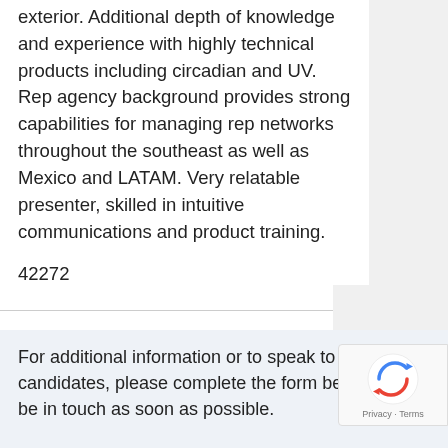exterior. Additional depth of knowledge and experience with highly technical products including circadian and UV. Rep agency background provides strong capabilities for managing rep networks throughout the southeast as well as Mexico and LATAM. Very relatable presenter, skilled in intuitive communications and product training.
42272
For additional information or to speak to one of the candidates, please complete the form below and J be in touch as soon as possible.